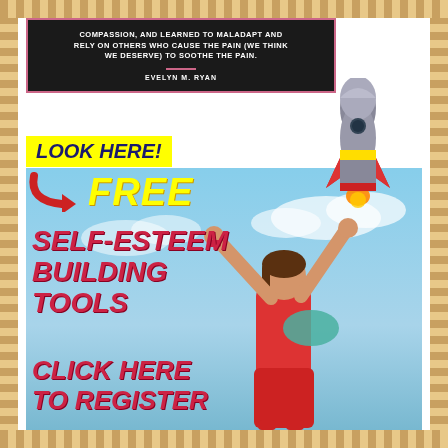COMPASSION, AND LEARNED TO MALADAPT AND RELY ON OTHERS WHO CAUSE THE PAIN (WE THINK WE DESERVE) TO SOOTHE THE PAIN.

EVELYN M. RYAN
[Figure (illustration): Promotional advertisement with yellow 'LOOK HERE!' banner, red arrow, yellow 'FREE' text, red italic text reading 'SELF-ESTEEM BUILDING TOOLS' and 'CLICK HERE TO REGISTER', woman with arms raised against sky background, rocket launching in upper right]
LOOK HERE!
FREE
SELF-ESTEEM BUILDING TOOLS
CLICK HERE TO REGISTER